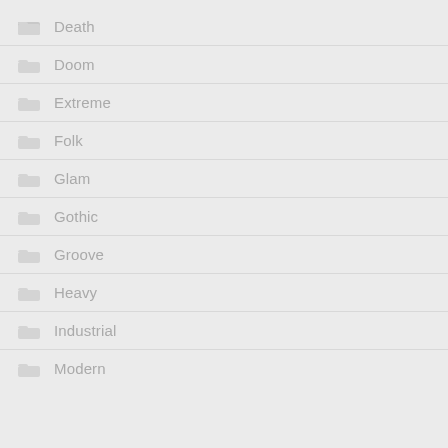Death
Doom
Extreme
Folk
Glam
Gothic
Groove
Heavy
Industrial
Modern